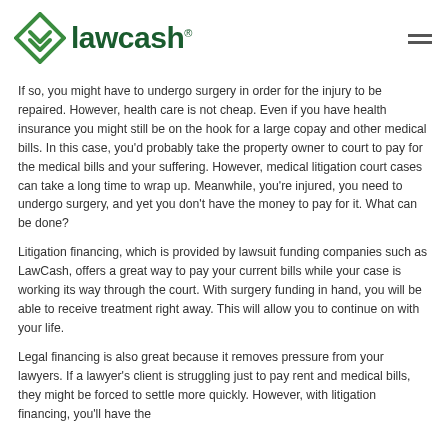[Figure (logo): LawCash logo with green diamond/arrow icon and dark green wordmark text]
If so, you might have to undergo surgery in order for the injury to be repaired. However, health care is not cheap. Even if you have health insurance you might still be on the hook for a large copay and other medical bills. In this case, you'd probably take the property owner to court to pay for the medical bills and your suffering. However, medical litigation court cases can take a long time to wrap up. Meanwhile, you're injured, you need to undergo surgery, and yet you don't have the money to pay for it. What can be done?
Litigation financing, which is provided by lawsuit funding companies such as LawCash, offers a great way to pay your current bills while your case is working its way through the court. With surgery funding in hand, you will be able to receive treatment right away. This will allow you to continue on with your life.
Legal financing is also great because it removes pressure from your lawyers. If a lawyer's client is struggling just to pay rent and medical bills, they might be forced to settle more quickly. However, with litigation financing, you'll have the